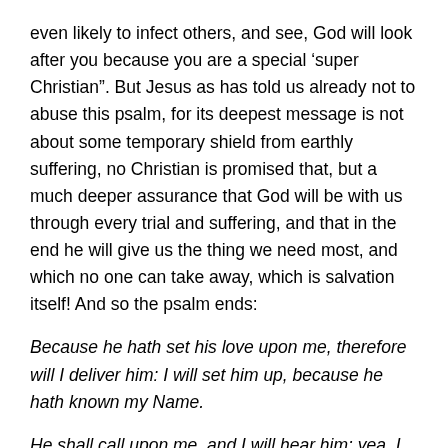even likely to infect others, and see, God will look after you because you are a special ‘super Christian”. But Jesus as has told us already not to abuse this psalm, for its deepest message is not about some temporary shield from earthly suffering, no Christian is promised that, but a much deeper assurance that God will be with us through every trial and suffering, and that in the end he will give us the thing we need most, and which no one can take away, which is salvation itself! And so the psalm ends:
Because he hath set his love upon me, therefore will I deliver him: I will set him up, because he hath known my Name.
He shall call upon me, and I will hear him: yea, I am with him in trouble; I will deliver him, and bring him to honour.